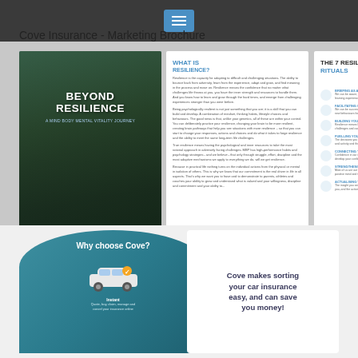[Figure (photo): Marketing brochure spread showing 'Beyond Resilience' book with three panels: book cover, 'What is Resilience?' content page, and 'The 7 Resilience Rituals' page]
[Figure (photo): Sunday daily planner page with lined rows for schedule entries]
[Figure (photo): Sunday Weekly Review planner page with scores of 10 and 10, and reflection sections]
Cove Insurance - Marketing Brochure
[Figure (photo): Cove Insurance marketing brochure showing 'Why choose Cove?' panel with car illustration and 'Instant' label, and right panel with tagline 'Cove makes sorting your car insurance easy, and can save you money!']